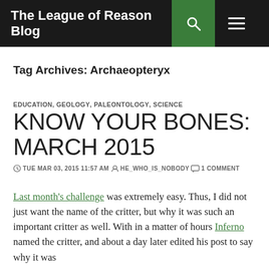The League of Reason Blog
Tag Archives: Archaeopteryx
EDUCATION, GEOLOGY, PALEONTOLOGY, SCIENCE
KNOW YOUR BONES: MARCH 2015
TUE MAR 03, 2015 11:57 AM  HE_WHO_IS_NOBODY  1 COMMENT
Last month's challenge was extremely easy. Thus, I did not just want the name of the critter, but why it was such an important critter as well. With in a matter of hours Inferno named the critter, and about a day later edited his post to say why it was